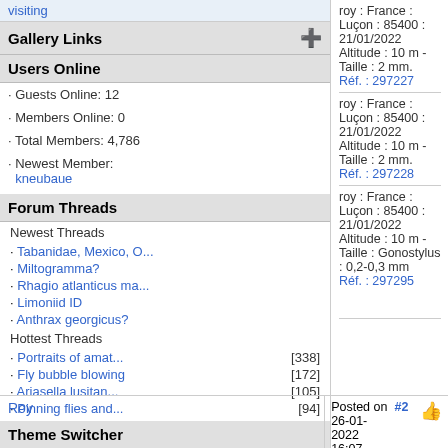visiting
Gallery Links
Users Online
· Guests Online: 12
· Members Online: 0
· Total Members: 4,786
· Newest Member: kneubaue
Forum Threads
Newest Threads
· Tabanidae, Mexico, O...
· Miltogramma?
· Rhagio atlanticus ma...
· Limoniid ID
· Anthrax georgicus?
Hottest Threads
· Portraits of amat... [338]
· Fly bubble blowing [172]
· Ariasella lusitan... [105]
· Pinning flies and... [94]
Theme Switcher
Switch to: SimpleAsThat
Last Seen Users
· Zeegers < 5 mins
· pierred 00:10:57
· guplox 00:15:33
· evdb 00:17:55
roy : France : Luçon : 85400 : 21/01/2022 Altitude : 10 m - Taille : 2 mm.
Réf. : 297227
roy : France : Luçon : 85400 : 21/01/2022 Altitude : 10 m - Taille : 2 mm.
Réf. : 297228
roy : France : Luçon : 85400 : 21/01/2022 Altitude : 10 m - Taille : Gonostylus : 0,2-0,3 mm
Réf. : 297295
Roy
Posted on 26-01-2022 16:07 #2
Member
An idea please ?